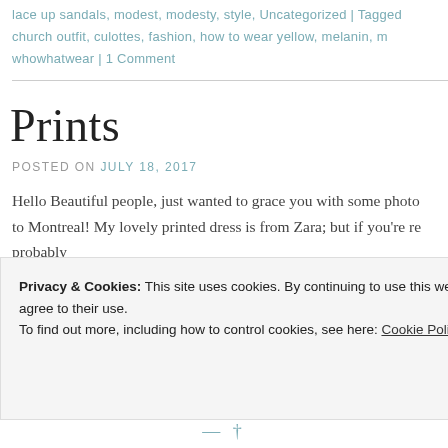lace up sandals, modest, modesty, style, Uncategorized | Tagged church outfit, culottes, fashion, how to wear yellow, melanin, m... whowhatwear | 1 Comment
Prints
POSTED ON JULY 18, 2017
Hello Beautiful people, just wanted to grace you with some photo to Montreal! My lovely printed dress is from Zara; but if you're re probably
Posted in casual outfit, christian, Culottes, fashion, fashion blo...
Privacy & Cookies: This site uses cookies. By continuing to use this website, you agree to their use.
To find out more, including how to control cookies, see here: Cookie Policy
Close and accept